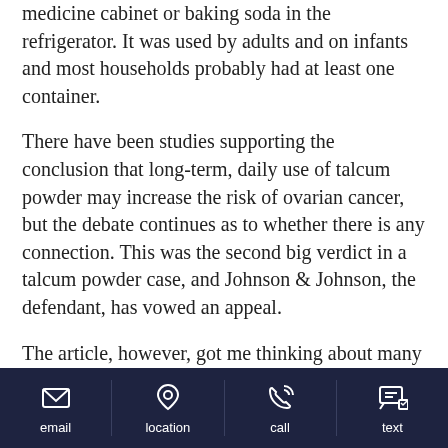medicine cabinet or baking soda in the refrigerator. It was used by adults and on infants and most households probably had at least one container.
There have been studies supporting the conclusion that long-term, daily use of talcum powder may increase the risk of ovarian cancer, but the debate continues as to whether there is any connection. This was the second big verdict in a talcum powder case, and Johnson & Johnson, the defendant, has vowed an appeal.
The article, however, got me thinking about many of the modern conveniences, products, and medications we use that were touted as helpful and safe but
email  location  call  text